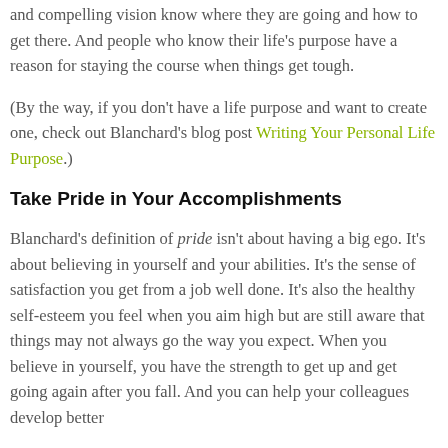and compelling vision know where they are going and how to get there. And people who know their life's purpose have a reason for staying the course when things get tough.
(By the way, if you don't have a life purpose and want to create one, check out Blanchard's blog post Writing Your Personal Life Purpose.)
Take Pride in Your Accomplishments
Blanchard's definition of pride isn't about having a big ego. It's about believing in yourself and your abilities. It's the sense of satisfaction you get from a job well done. It's also the healthy self-esteem you feel when you aim high but are still aware that things may not always go the way you expect. When you believe in yourself, you have the strength to get up and get going again after you fall. And you can help your colleagues develop better